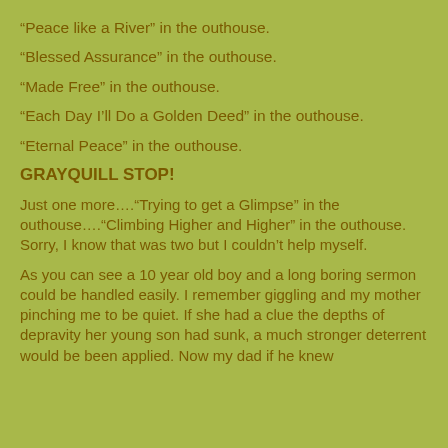“Peace like a River” in the outhouse.
“Blessed Assurance” in the outhouse.
“Made Free” in the outhouse.
“Each Day I’ll Do a Golden Deed” in the outhouse.
“Eternal Peace” in the outhouse.
GRAYQUILL STOP!
Just one more….“Trying to get a Glimpse” in the outhouse….“Climbing Higher and Higher” in the outhouse. Sorry, I know that was two but I couldn’t help myself.
As you can see a 10 year old boy and a long boring sermon could be handled easily. I remember giggling and my mother pinching me to be quiet. If she had a clue the depths of depravity her young son had sunk, a much stronger deterrent would be been applied. Now my dad if he knew